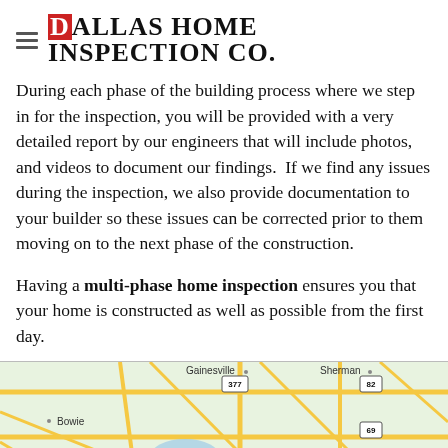Dallas Home Inspection Co.
During each phase of the building process where we step in for the inspection, you will be provided with a very detailed report by our engineers that will include photos, and videos to document our findings.  If we find any issues during the inspection, we also provide documentation to your builder so these issues can be corrected prior to them moving on to the next phase of the construction.
Having a multi-phase home inspection ensures you that your home is constructed as well as possible from the first day.
[Figure (map): Google Maps view showing the Dallas/Frisco, TX area with surrounding cities including Gainesville, Sherman, Bowie, Decatur, Commerce, and route markers 377, 82, 69, 30. A map pin is placed at Frisco, TX.]